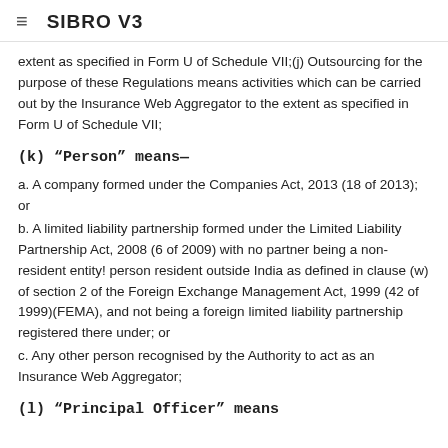SIBRO V3
extent as specified in Form U of Schedule VII;(j) Outsourcing for the purpose of these Regulations means activities which can be carried out by the Insurance Web Aggregator to the extent as specified in Form U of Schedule VII;
(k) “Person” means—
a. A company formed under the Companies Act, 2013 (18 of 2013); or
b. A limited liability partnership formed under the Limited Liability Partnership Act, 2008 (6 of 2009) with no partner being a non-resident entity! person resident outside India as defined in clause (w) of section 2 of the Foreign Exchange Management Act, 1999 (42 of 1999)(FEMA), and not being a foreign limited liability partnership registered there under; or
c. Any other person recognised by the Authority to act as an Insurance Web Aggregator;
(l) “Principal Officer” means